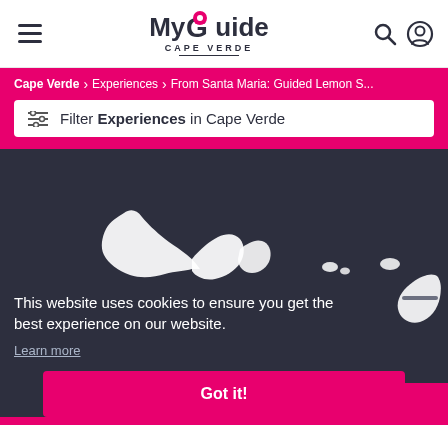[Figure (logo): MyGuide Cape Verde logo with pink map pin over the G]
MyGuide CAPE VERDE
Cape Verde > Experiences > From Santa Maria: Guided Lemon S...
Filter Experiences in Cape Verde
[Figure (map): Dark background with white silhouettes of Cape Verde islands]
This website uses cookies to ensure you get the best experience on our website. Learn more
Got it!